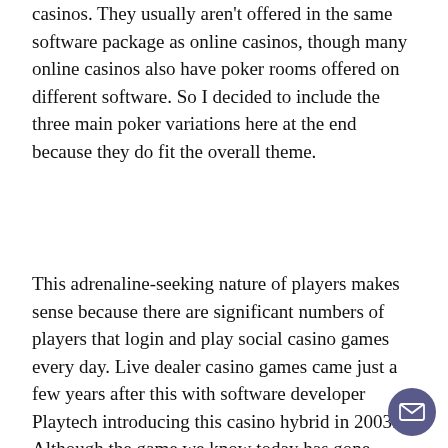casinos. They usually aren't offered in the same software package as online casinos, though many online casinos also have poker rooms offered on different software. So I decided to include the three main poker variations here at the end because they do fit the overall theme.
This adrenaline-seeking nature of players makes sense because there are significant numbers of players that login and play social casino games every day. Live dealer casino games came just a few years after this with software developer Playtech introducing this casino hybrid in 2003. Although the game we know today has gone through many changes and variations over the years, the game of baccarat was one of the earliest gambling games played and is still played today. The casino software is what powers the games that we love to play, and with many so many software providers in the industry today, it can be challenging to find the best ones. Here you will learn what it is that players need to look out for, and what makes a good software provider, great. Not all games were created equal; while some casino games are skill-based, some games